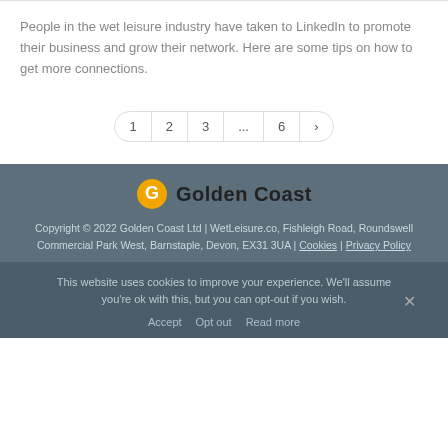People in the wet leisure industry have taken to LinkedIn to promote their business and grow their network. Here are some tips on how to get more connections.
Copyright © 2022 Golden Coast Ltd | WetLeisure.co, Fishleigh Road, Roundswell Commercial Park West, Barnstaple, Devon, EX31 3UA | Cookies | Privacy Policy
This website uses cookies to improve your experience. We'll assume you're ok with this, but you can opt-out if you wish.
Accept   Opt out   Read more